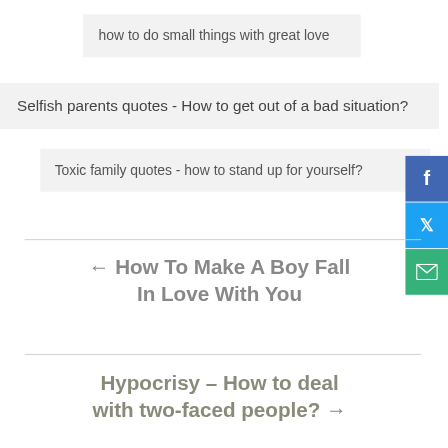how to do small things with great love
Selfish parents quotes - How to get out of a bad situation?
Toxic family quotes - how to stand up for yourself?
[Figure (other): Social share button - Facebook]
[Figure (other): Social share button - Twitter]
[Figure (other): Social share button - Email]
← How To Make A Boy Fall In Love With You
Hypocrisy – How to deal with two-faced people? →